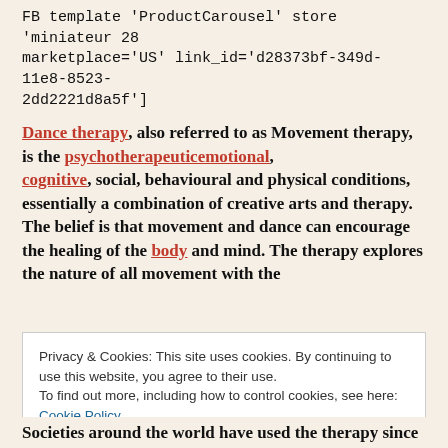FB template 'ProductCarousel' store 'miniateur 28 marketplace='US' link_id='d28373bf-349d-11e8-8523-2dd2221d8a5f']
Dance therapy, also referred to as Movement therapy, is the psychotherapeuticemotional, cognitive, social, behavioural and physical conditions, essentially a combination of creative arts and therapy. The belief is that movement and dance can encourage the healing of the body and mind. The therapy explores the nature of all movement with the
Privacy & Cookies: This site uses cookies. By continuing to use this website, you agree to their use.
To find out more, including how to control cookies, see here: Cookie Policy

CLOSE AND ACCEPT
Societies around the world have used the therapy since